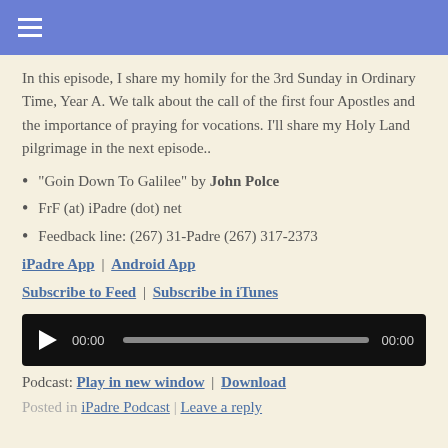≡ (hamburger menu)
In this episode, I share my homily for the 3rd Sunday in Ordinary Time, Year A. We talk about the call of the first four Apostles and the importance of praying for vocations. I'll share my Holy Land pilgrimage in the next episode..
"Goin Down To Galilee" by John Polce
FrF (at) iPadre (dot) net
Feedback line: (267) 31-Padre (267) 317-2373
iPadre App | Android App
Subscribe to Feed | Subscribe in iTunes
[Figure (other): Audio player with play button, time display 00:00 and 00:00, and progress bar]
Podcast: Play in new window | Download
Posted in iPadre Podcast | Leave a reply